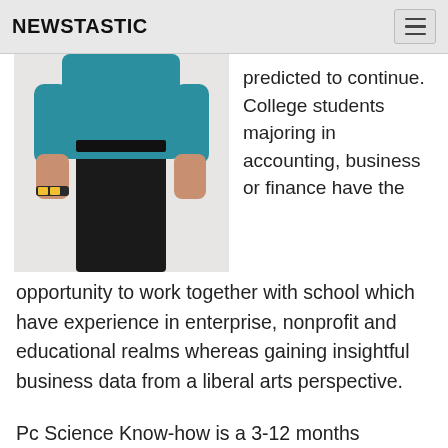NEWSTASTIC
[Figure (photo): A person wearing a teal/blue top and black pants, shown from the torso down, with a patterned bracelet on their wrist.]
predicted to continue. College students majoring in accounting, business or finance have the opportunity to work together with school which have experience in enterprise, nonprofit and educational realms whereas gaining insightful business data from a liberal arts perspective.
Pc Science Know-how is a 3-12 months program that prepares school students to work as entry-diploma software program program builders in small, medium